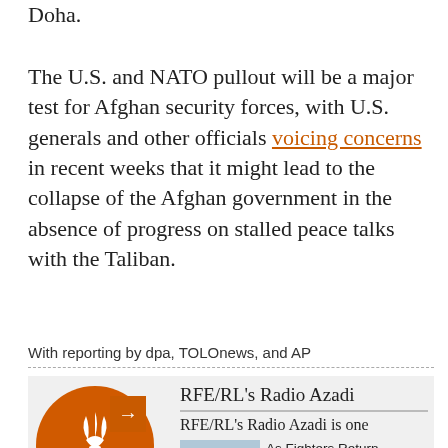Doha.
The U.S. and NATO pullout will be a major test for Afghan security forces, with U.S. generals and other officials voicing concerns in recent weeks that it might lead to the collapse of the Afghan government in the absence of progress on stalled peace talks with the Taliban.
With reporting by dpa, TOLOnews, and AP
[Figure (infographic): RFE/RL's Radio Azadi promotional box with orange circular logo featuring a torch/flame icon, title 'RFE/RL's Radio Azadi', subtitle 'RFE/RL's Radio Azadi is one', an orange arrow box, and a news item 'As Fighters Return, Pakistanis Fear A Repeat Of Taliban Carnage' with a crowd photo.]